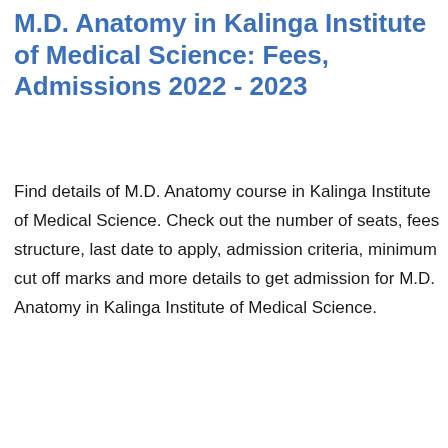M.D. Anatomy in Kalinga Institute of Medical Science: Fees, Admissions 2022 - 2023
Find details of M.D. Anatomy course in Kalinga Institute of Medical Science. Check out the number of seats, fees structure, last date to apply, admission criteria, minimum cut off marks and more details to get admission for M.D. Anatomy in Kalinga Institute of Medical Science.